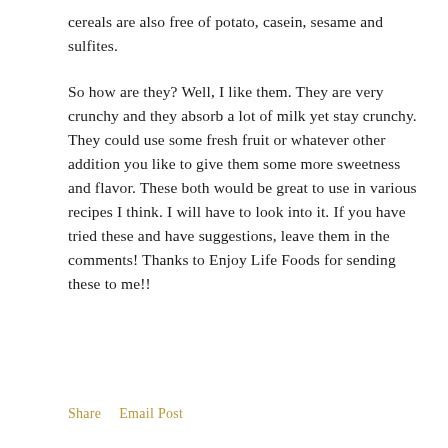cereals are also free of potato, casein, sesame and sulfites.
So how are they? Well, I like them. They are very crunchy and they absorb a lot of milk yet stay crunchy. They could use some fresh fruit or whatever other addition you like to give them some more sweetness and flavor. These both would be great to use in various recipes I think. I will have to look into it. If you have tried these and have suggestions, leave them in the comments! Thanks to Enjoy Life Foods for sending these to me!!
Share   Email Post